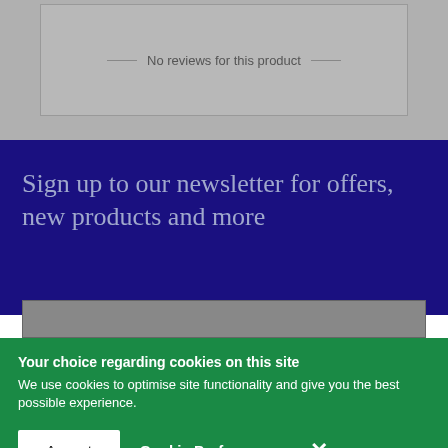No reviews for this product
Sign up to our newsletter for offers, new products and more
Your choice regarding cookies on this site
We use cookies to optimise site functionality and give you the best possible experience.
Accept
Cookie Preferences
×